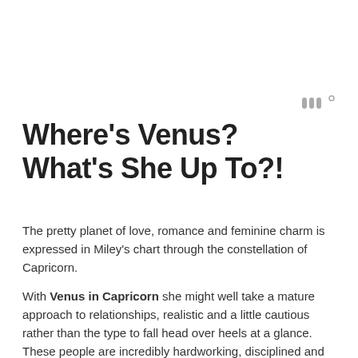[Figure (logo): Small stylized logo mark in gray, resembling three vertical bars or letter W with a small superscript circle]
Where’s Venus? What’s She Up To?!
The pretty planet of love, romance and feminine charm is expressed in Miley’s chart through the constellation of Capricorn.
With Venus in Capricorn she might well take a mature approach to relationships, realistic and a little cautious rather than the type to fall head over heels at a glance. These people are incredibly hardworking, disciplined and ambitious, even business-minded.
They might be modest with their make-up and have a very good